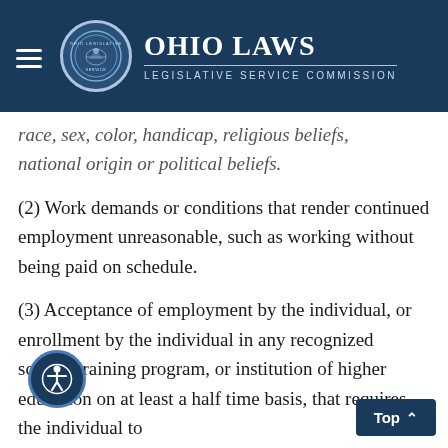Ohio Laws Legislative Service Commission
race, sex, color, handicap, religious beliefs, national origin or political beliefs.
(2) Work demands or conditions that render continued employment unreasonable, such as working without being paid on schedule.
(3) Acceptance of employment by the individual, or enrollment by the individual in any recognized school, training program, or institution of higher education on at least a half time basis, that requires the individual to